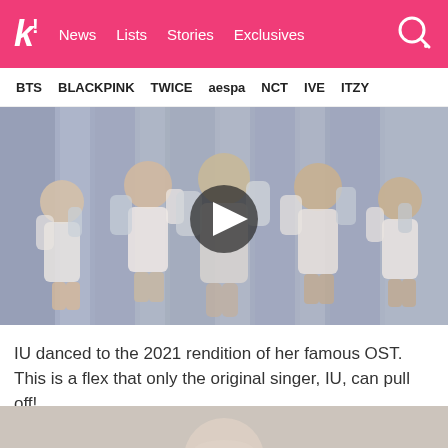k! News  Lists  Stories  Exclusives
BTS  BLACKPINK  TWICE  aespa  NCT  IVE  ITZY
[Figure (photo): Video thumbnail showing IU and dancers performing on a stage with curtains in the background, with a play button overlay in the center]
IU danced to the 2021 rendition of her famous OST. This is a flex that only the original singer, IU, can pull off!
[Figure (photo): Partial image at the bottom of the page, showing the top of a figure or scene]